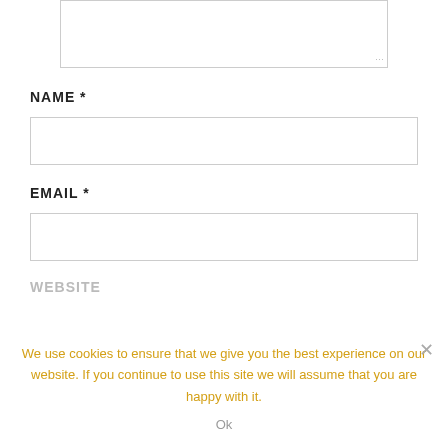[Figure (screenshot): Textarea input box (empty, resizable) at the top of the page]
NAME *
[Figure (screenshot): Text input box for Name field (empty)]
EMAIL *
[Figure (screenshot): Text input box for Email field (empty)]
WEBSITE
We use cookies to ensure that we give you the best experience on our website. If you continue to use this site we will assume that you are happy with it.
Ok